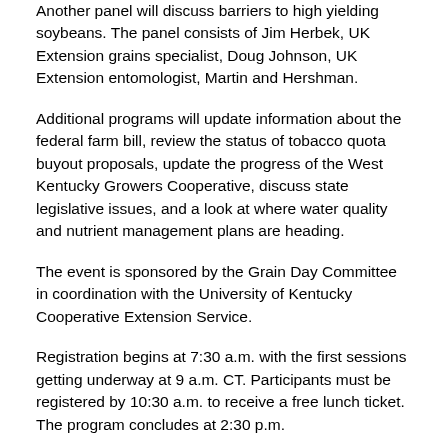Another panel will discuss barriers to high yielding soybeans. The panel consists of Jim Herbek, UK Extension grains specialist, Doug Johnson, UK Extension entomologist, Martin and Hershman.
Additional programs will update information about the federal farm bill, review the status of tobacco quota buyout proposals, update the progress of the West Kentucky Growers Cooperative, discuss state legislative issues, and a look at where water quality and nutrient management plans are heading.
The event is sponsored by the Grain Day Committee in coordination with the University of Kentucky Cooperative Extension Service.
Registration begins at 7:30 a.m. with the first sessions getting underway at 9 a.m. CT. Participants must be registered by 10:30 a.m. to receive a free lunch ticket. The program concludes at 2:30 p.m.
For more information on Ag Expo contact Wayne